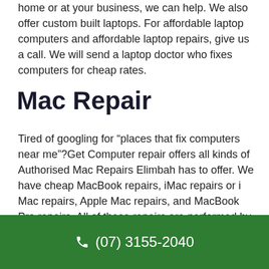home or at your business, we can help. We also offer custom built laptops. For affordable laptop computers and affordable laptop repairs, give us a call. We will send a laptop doctor who fixes computers for cheap rates.
Mac Repair
Tired of googling for “places that fix computers near me”?Get Computer repair offers all kinds of Authorised Mac Repairs Elimbah has to offer. We have cheap MacBook repairs, iMac repairs or i Mac repairs, Apple Mac repairs, and MacBook Pro repairs. All of these repairs are performed by Apple Certified Technicians so we can guarantee that the services we offer are of the best quality. We will provide you with a computer repair technician who is also an Apple certified computer technician who can repair any part
(07) 3155-2040